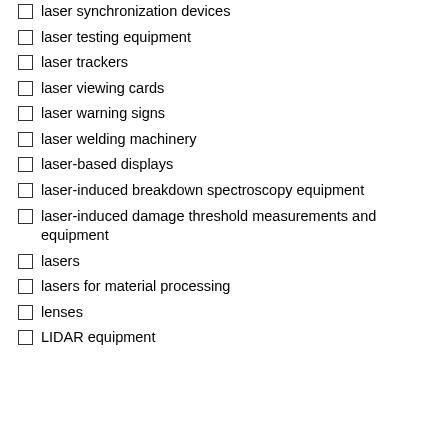laser synchronization devices
laser testing equipment
laser trackers
laser viewing cards
laser warning signs
laser welding machinery
laser-based displays
laser-induced breakdown spectroscopy equipment
laser-induced damage threshold measurements and equipment
lasers
lasers for material processing
lenses
LIDAR equipment